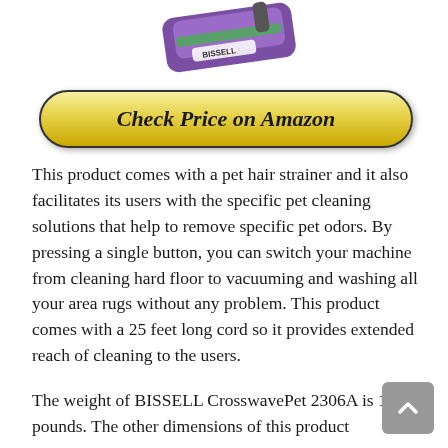[Figure (photo): Partial image of BISSELL CrosswavePet product vacuum cleaner, cropped at top of page]
Check Price on Amazon
This product comes with a pet hair strainer and it also facilitates its users with the specific pet cleaning solutions that help to remove specific pet odors. By pressing a single button, you can switch your machine from cleaning hard floor to vacuuming and washing all your area rugs without any problem. This product comes with a 25 feet long cord so it provides extended reach of cleaning to the users.
The weight of BISSELL CrosswavePet 2306A is 17.6 pounds. The other dimensions of this product